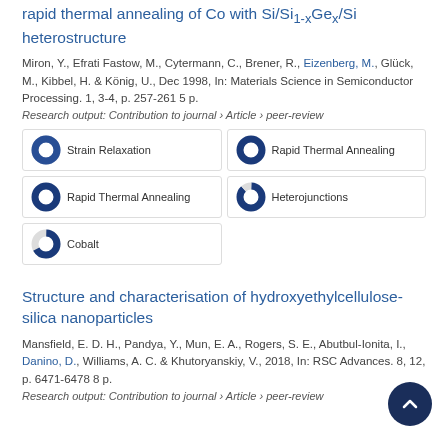rapid thermal annealing of Co with Si/Si1-xGex/Si heterostructure
Miron, Y., Efrati Fastow, M., Cytermann, C., Brener, R., Eizenberg, M., Glück, M., Kibbel, H. & König, U., Dec 1998, In: Materials Science in Semiconductor Processing. 1, 3-4, p. 257-261 5 p.
Research output: Contribution to journal › Article › peer-review
[Figure (infographic): Fingerprint keywords: Strain Relaxation 100%, Rapid Thermal Annealing 100% (x2), Heterojunctions 88%, Cobalt 67%]
Structure and characterisation of hydroxyethylcellulose-silica nanoparticles
Mansfield, E. D. H., Pandya, Y., Mun, E. A., Rogers, S. E., Abutbul-Ionita, I., Danino, D., Williams, A. C. & Khutoryanskiy, V., 2018, In: RSC Advances. 8, 12, p. 6471-6478 8 p.
Research output: Contribution to journal › Article › peer-review